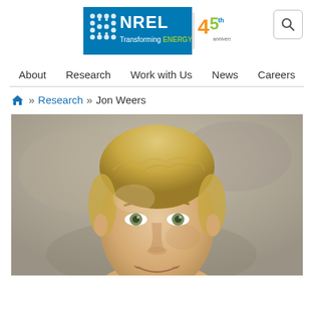[Figure (logo): NREL - Transforming ENERGY logo with 45th anniversary badge]
[Figure (other): Search icon button (magnifying glass) in rounded square border]
About   Research   Work with Us   News   Careers
» Research » Jon Weers
[Figure (photo): Headshot portrait photo of Jon Weers, a man with short blonde hair, photographed outdoors with a blurred background]